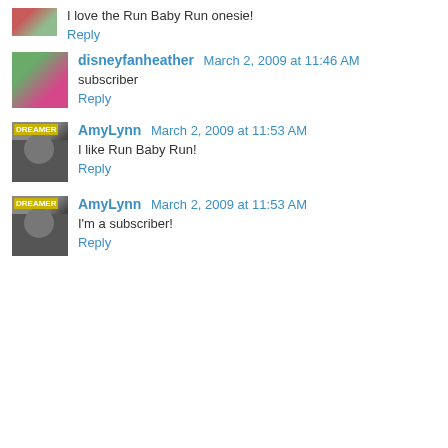I love the Run Baby Run onesie!
Reply
disneyfanheather  March 2, 2009 at 11:46 AM
subscriber
Reply
AmyLynn  March 2, 2009 at 11:53 AM
I like Run Baby Run!
Reply
AmyLynn  March 2, 2009 at 11:53 AM
I'm a subscriber!
Reply